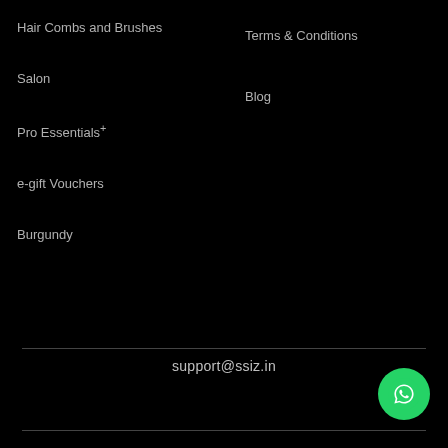Hair Combs and Brushes
Terms & Conditions
Salon
Blog
Pro Essentials+
e-gift Vouchers
Burgundy
support@ssiz.in
[Figure (logo): WhatsApp icon button - green circular button with white WhatsApp phone logo]